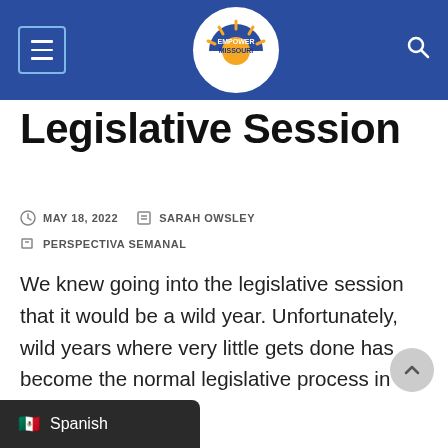Empower Missouri navigation bar
Legislative Session
MAY 18, 2022   SARAH OWSLEY
PERSPECTIVA SEMANAL
We knew going into the legislative session that it would be a wild year. Unfortunately, wild years where very little gets done has become the normal legislative process in Missouri. It wasn't designed to be this way. However, partisan infighting, electoral maps designed to favor one party, distrust in government and an overall breakdo... in...